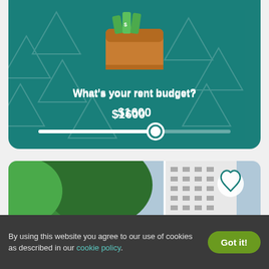[Figure (infographic): Teal card with wallet icon showing cash, triangle pattern background, rent budget slider set to $1600]
What's your rent budget?
$1600
[Figure (photo): Property listing photo showing apartment building and trees with a heart/favorite icon and next arrow]
By using this website you agree to our use of cookies as described in our cookie policy.